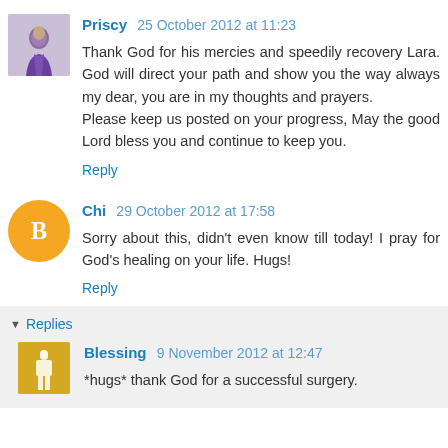[Figure (photo): Avatar image of Priscy, person in purple shirt]
Priscy 25 October 2012 at 11:23
Thank God for his mercies and speedily recovery Lara. God will direct your path and show you the way always my dear, you are in my thoughts and prayers.
Please keep us posted on your progress, May the good Lord bless you and continue to keep you.
Reply
[Figure (illustration): Orange circle avatar with Blogger B logo for Chi]
Chi 29 October 2012 at 17:58
Sorry about this, didn't even know till today! I pray for God's healing on your life. Hugs!
Reply
▾ Replies
[Figure (photo): Small avatar image of Blessing, yellow background]
Blessing 9 November 2012 at 12:47
*hugs* thank God for a successful surgery.